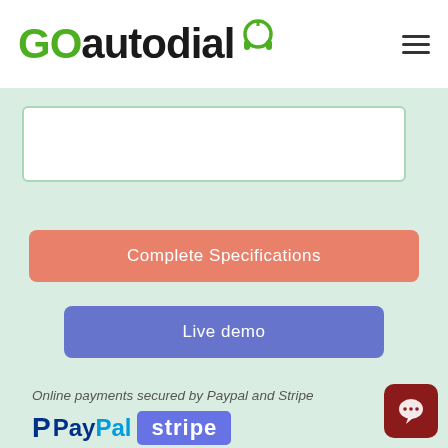[Figure (logo): GOautodial logo with green headset icon and hamburger menu icon]
[Figure (other): White card/input area with light green border]
Complete Specifications
Live demo
Online payments secured by Paypal and Stripe
[Figure (logo): PayPal and Stripe payment logos]
[Figure (other): Chat support button (dark red rounded square with speech bubble icon)]